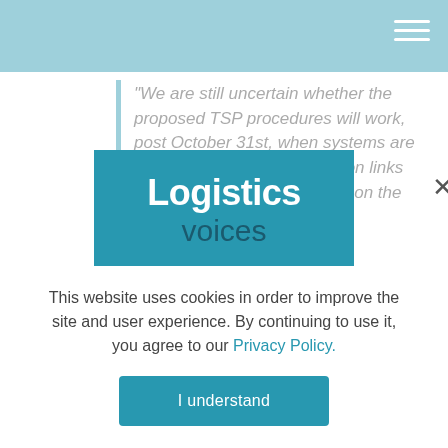“We are still uncertain whether the proposed TSP procedures will work, post October 31st, when systems are largely untried, communication links between the parties involved on the processes are not established, many remain unaware of their
[Figure (logo): Logistics voices logo: white bold 'Logistics' text and dark teal 'voices' text on a teal background rectangle]
This website uses cookies in order to improve the site and user experience. By continuing to use it, you agree to our Privacy Policy.
I understand